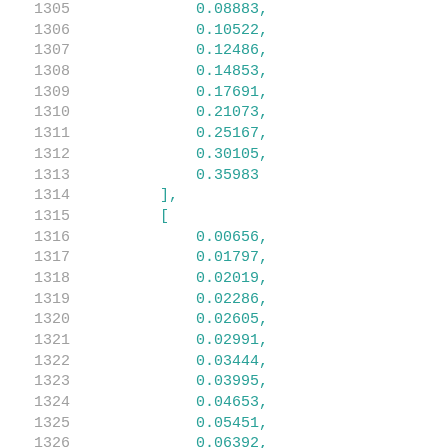1305    0.08883,
1306    0.10522,
1307    0.12486,
1308    0.14853,
1309    0.17691,
1310    0.21073,
1311    0.25167,
1312    0.30105,
1313    0.35983
1314    ],
1315    [
1316    0.00656,
1317    0.01797,
1318    0.02019,
1319    0.02286,
1320    0.02605,
1321    0.02991,
1322    0.03444,
1323    0.03995,
1324    0.04653,
1325    0.05451,
1326    0.06392,